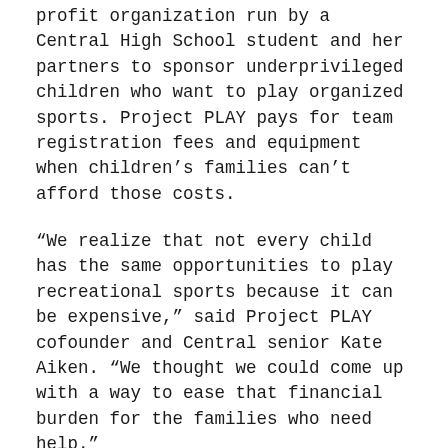profit organization run by a Central High School student and her partners to sponsor underprivileged children who want to play organized sports. Project PLAY pays for team registration fees and equipment when children's families can't afford those costs.
“We realize that not every child has the same opportunities to play recreational sports because it can be expensive,” said Project PLAY cofounder and Central senior Kate Aiken. “We thought we could come up with a way to ease that financial burden for the families who need help.”
Project PLAY was created in June 2013 by Aiken, Luke Testa of Trinity High School, and Courtney Pederson of Bedford High School when they met as sophomores at a Hugh O’Brian Youth Leadership (HOBY) conference.  HOBY provides students selected by their schools with leadership training, service-learning and motivation-building